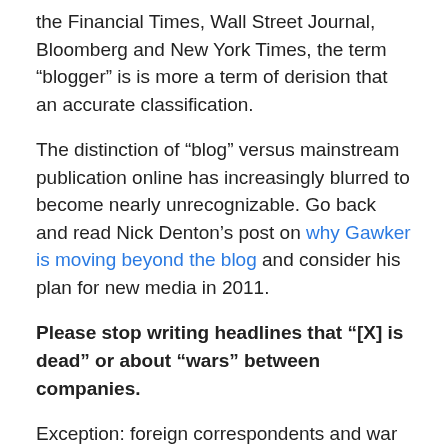the Financial Times, Wall Street Journal, Bloomberg and New York Times, the term “blogger” is is more a term of derision that an accurate classification.
The distinction of “blog” versus mainstream publication online has increasingly blurred to become nearly unrecognizable. Go back and read Nick Denton’s post on why Gawker is moving beyond the blog and consider his plan for new media in 2011.
Please stop writing headlines that “[X] is dead” or about “wars” between companies.
Exception: foreign correspondents and war journalists, both of whom exist in decreasing numbers these days. If you’re not covering an actual war, stop using the metaphor. Seriously.